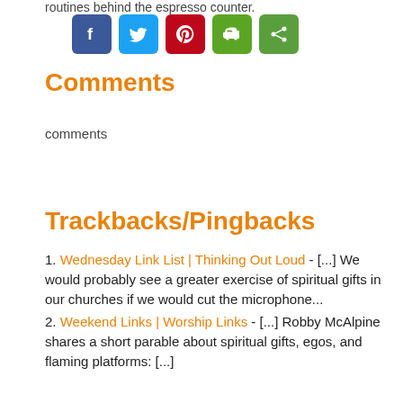routines behind the espresso counter.
[Figure (other): Row of social media share buttons: Facebook (blue), Twitter (light blue), Pinterest (red), Evernote (green), and another green share button]
Comments
comments
Trackbacks/Pingbacks
1. Wednesday Link List | Thinking Out Loud - [...] We would probably see a greater exercise of spiritual gifts in our churches if we would cut the microphone...
2. Weekend Links | Worship Links - [...] Robby McAlpine shares a short parable about spiritual gifts, egos, and flaming platforms: [...]